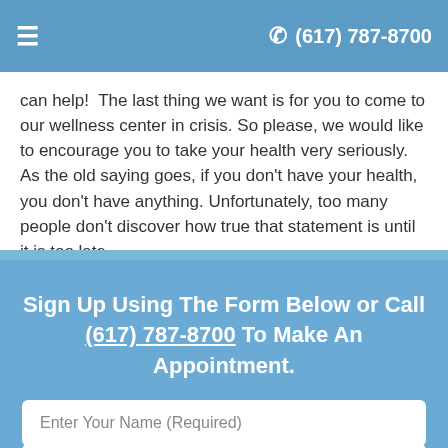≡  ☎ (617) 787-8700
can help!  The last thing we want is for you to come to our wellness center in crisis. So please, we would like to encourage you to take your health very seriously.  As the old saying goes, if you don't have your health, you don't have anything. Unfortunately, too many people don't discover how true that statement is until it is too late.
Sign Up Using The Form Below or Call (617) 787-8700 To Make An Appointment.
Enter Your Name (Required)
Enter Email (Required)